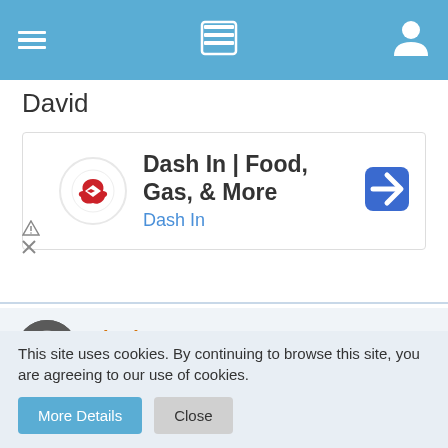Navigation bar with menu, list, and user icons
David
[Figure (screenshot): Advertisement for Dash In | Food, Gas, & More with Dash In logo and navigation arrow icon]
shadowzero
Intermediate
Feb 26th 2015
This site uses cookies. By continuing to browse this site, you are agreeing to our use of cookies.
More Details
Close